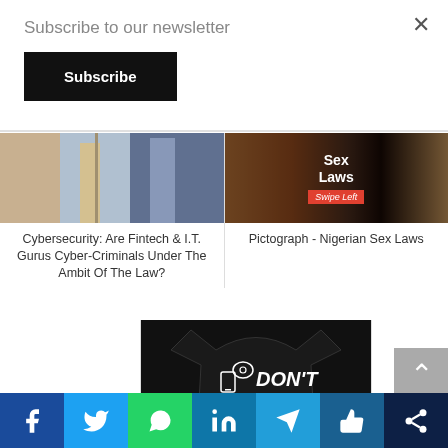Subscribe to our newsletter
Subscribe
[Figure (photo): Close-up of men in business suits with ties]
Cybersecurity: Are Fintech & I.T. Gurus Cyber-Criminals Under The Ambit Of The Law?
[Figure (photo): Pictograph image with text 'Sex Laws' and 'Swipe Left' badge]
Pictograph - Nigerian Sex Laws
[Figure (photo): Black t-shirt with text: DON'T BE IGNORANT LEARN YOUR RIGHTS @LEGALNAIJA]
Facebook Twitter WhatsApp LinkedIn Telegram Like Share